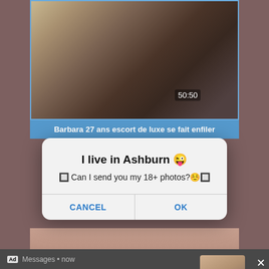[Figure (screenshot): Video thumbnail showing a woman with blonde hair in a dark jacket, outdoors. Timestamp 50:50 visible in lower right of video.]
Barbara 27 ans escort de luxe se fait enfiler
I live in Ashburn 😜
🔲 Can I send you my 18+ photos?☺️🔲
CANCEL    OK
Ad  Messages • now
Hey Cutie ;)
Want to see my Photos?
german housewife at pov escort date fucks